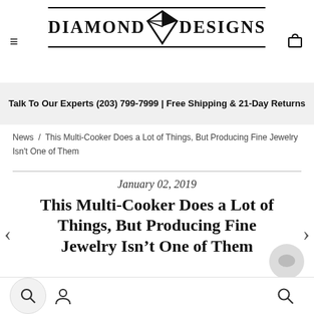DIAMOND DESIGNS
Talk To Our Experts (203) 799-7999 | Free Shipping & 21-Day Returns
News / This Multi-Cooker Does a Lot of Things, But Producing Fine Jewelry Isn't One of Them
January 02, 2019
This Multi-Cooker Does a Lot of Things, But Producing Fine Jewelry Isn't One of Them
magine Shiloah Avery's